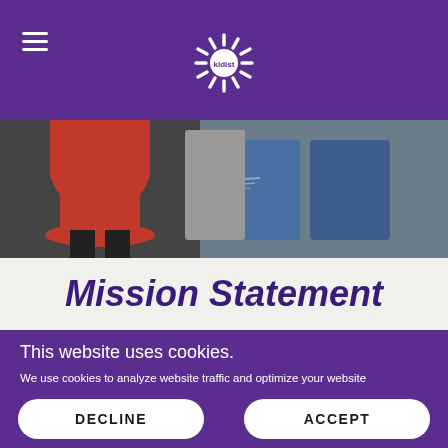Kidist — navigation header with hamburger menu and logo
[Figure (photo): Photo of children's clothing items including a red skirt/dress and blue denim jeans]
Mission Statement
This website uses cookies.
We use cookies to analyze website traffic and optimize your website experience. By accepting our use of cookies, your data will be aggregated with all other user data.
DECLINE
ACCEPT